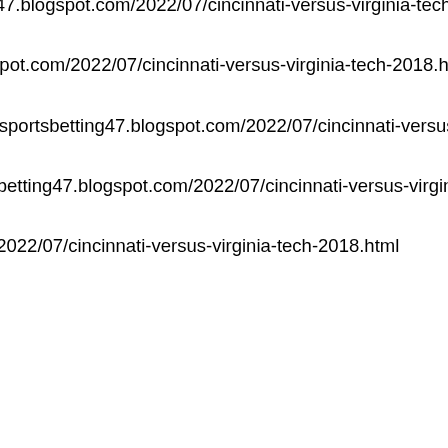http://www.cureya.com/kinbaku/out.cgi?id=13854&url=https://sportsbetting47.blogspot.com/2022/07/cincinnati-versus-virginia-tech-2018.html http://www.dcgreeks.com/ad_redirect.asp?url=https://sportsbetting47.blogspot.com/2022/07/cincinnati-versus-virginia-tech-2018.html http://www.eliseerotic.com/cgi-bin/autorank/out.cgi?id=pansuto&url=https://sportsbetting47.blogspot.com/2022/07/cincinnati-versus-virginia-tech-2018.html http://www.extreme-thumbz.com/cgi-bin/atc/out.cgi?id=33&u=https://sportsbetting47.blogspot.com/2022/07/cincinnati-versus-virginia-tech-2018.html http://www.findingfarm.com/redir?url=https://sportsbetting47.blogspot.com/2022/07/cincinnati-versus-virginia-tech-2018.html